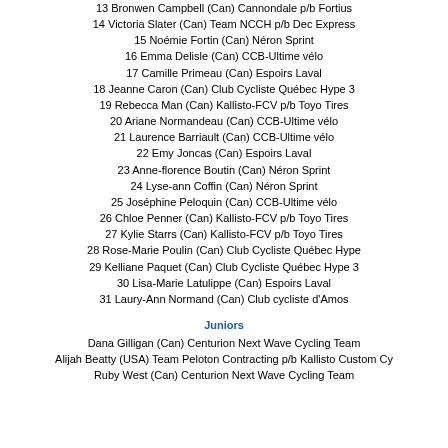13 Bronwen Campbell (Can) Cannondale p/b Fortius
14 Victoria Slater (Can) Team NCCH p/b Dec Express
15 Noémie Fortin (Can) Néron Sprint
16 Emma Delisle (Can) CCB-Ultime vélo
17 Camille Primeau (Can) Espoirs Laval
18 Jeanne Caron (Can) Club Cycliste Québec Hype 3
19 Rebecca Man (Can) Kallisto-FCV p/b Toyo Tires
20 Ariane Normandeau (Can) CCB-Ultime vélo
21 Laurence Barriault (Can) CCB-Ultime vélo
22 Emy Joncas (Can) Espoirs Laval
23 Anne-florence Boutin (Can) Néron Sprint
24 Lyse-ann Coffin (Can) Néron Sprint
25 Joséphine Peloquin (Can) CCB-Ultime vélo
26 Chloe Penner (Can) Kallisto-FCV p/b Toyo Tires
27 Kylie Starrs (Can) Kallisto-FCV p/b Toyo Tires
28 Rose-Marie Poulin (Can) Club Cycliste Québec Hype
29 Kelliane Paquet (Can) Club Cycliste Québec Hype 3
30 Lisa-Marie Latulippe (Can) Espoirs Laval
31 Laury-Ann Normand (Can) Club cycliste d'Amos
Juniors
Dana Gilligan (Can) Centurion Next Wave Cycling Team
Alijah Beatty (USA) Team Peloton Contracting p/b Kallisto Custom Cy
Ruby West (Can) Centurion Next Wave Cycling Team